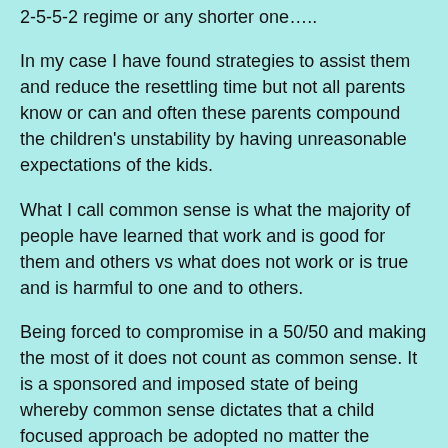2-5-5-2 regime or any shorter one…..
In my case I have found strategies to assist them and reduce the resettling time but not all parents know or can and often these parents compound the children's unstability by having unreasonable expectations of the kids.
What I call common sense is what the majority of people have learned that work and is good for them and others vs what does not work or is true and is harmful to one and to others.
Being forced to compromise in a 50/50 and making the most of it does not count as common sense. It is a sponsored and imposed state of being whereby common sense dictates that a child focused approach be adopted no matter the circumstances.
But...